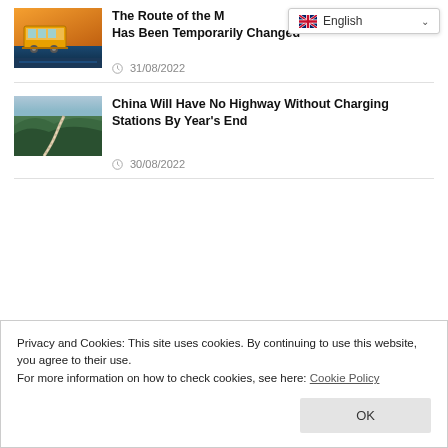[Figure (photo): Yellow tram/trolley at a waterfront location at sunset]
The Route of the M Has Been Temporarily Changed
31/08/2022
[Figure (photo): Aerial view of a winding road through green mountain forests]
China Will Have No Highway Without Charging Stations By Year's End
30/08/2022
Privacy and Cookies: This site uses cookies. By continuing to use this website, you agree to their use.
For more information on how to check cookies, see here: Cookie Policy
OK